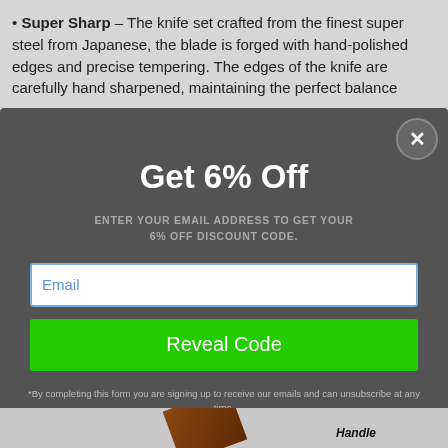Super Sharp – The knife set crafted from the finest super steel from Japanese, the blade is forged with hand-polished edges and precise tempering. The edges of the knife are carefully hand sharpened, maintaining the perfect balance
[Figure (screenshot): Modal popup overlay on a product page. Contains 'Get 6% Off' heading, subtitle 'ENTER YOUR EMAIL ADDRESS TO GET YOUR 6% OFF DISCOUNT CODE.', an email input field, a green 'Reveal Code' button, and fine print about signing up for emails. A close (X) button is in the top-right corner.]
*By completing this form you are signing up to receive our emails and can unsubscribe at any time.
Handle